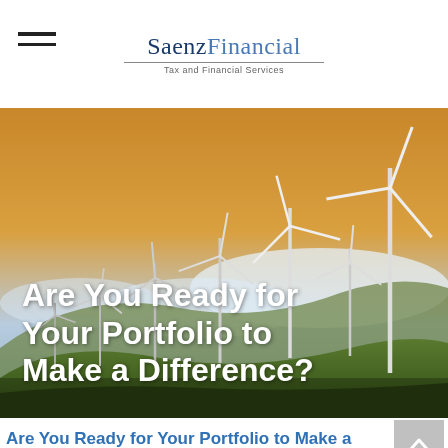SaenzFinancial – Tax and Financial Services
[Figure (photo): Wind turbines on hillside at sunset with overlay text: Are You Ready for Your Portfolio to Make a Difference?]
Are You Ready for Your Portfolio to Make a Difference?
Learn about the rise of Impact Investing and how it may benefit